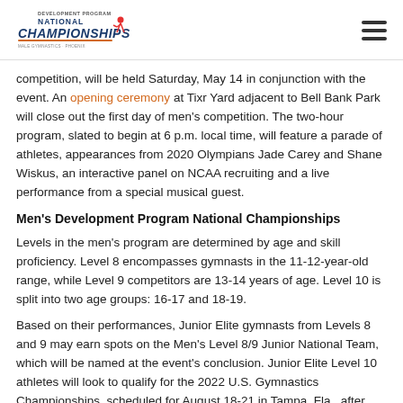Development Program National Championships logo and navigation menu
competition, will be held Saturday, May 14 in conjunction with the event. An opening ceremony at Tixr Yard adjacent to Bell Bank Park will close out the first day of men's competition. The two-hour program, slated to begin at 6 p.m. local time, will feature a parade of athletes, appearances from 2020 Olympians Jade Carey and Shane Wiskus, an interactive panel on NCAA recruiting and a live performance from a special musical guest.
Men's Development Program National Championships
Levels in the men's program are determined by age and skill proficiency. Level 8 encompasses gymnasts in the 11-12-year-old range, while Level 9 competitors are 13-14 years of age. Level 10 is split into two age groups: 16-17 and 18-19.
Based on their performances, Junior Elite gymnasts from Levels 8 and 9 may earn spots on the Men's Level 8/9 Junior National Team, which will be named at the event's conclusion. Junior Elite Level 10 athletes will look to qualify for the 2022 U.S. Gymnastics Championships, scheduled for August 18-21 in Tampa, Fla., after which the Level 10 Junior National Team will be announced.